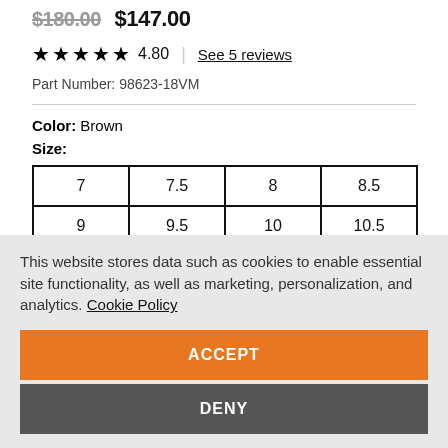$180.00 $147.00
★★★★★ 4.80 | See 5 reviews
Part Number: 98623-18VM
Color: Brown
Size:
| 7 | 7.5 | 8 | 8.5 |
| 9 | 9.5 | 10 | 10.5 |
| 11 | 11.5 | 12 | 13 |
This website stores data such as cookies to enable essential site functionality, as well as marketing, personalization, and analytics. Cookie Policy
ACCEPT
DENY